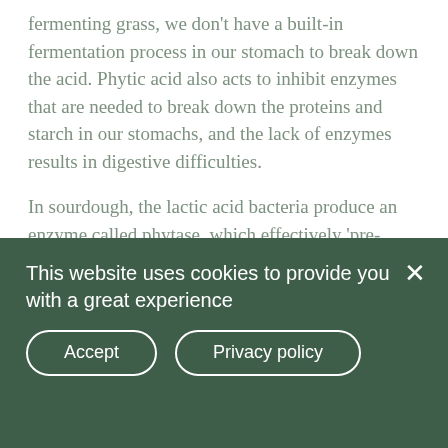fermenting grass, we don't have a built-in fermentation process in our stomach to break down the acid. Phytic acid also acts to inhibit enzymes that are needed to break down the proteins and starch in our stomachs, and the lack of enzymes results in digestive difficulties.
In sourdough, the lactic acid bacteria produce an enzyme called phytase, which effectively 'pre-digests' the phytic acid during the extended fermentation. This partially neutralises the effects of the phytic acid and makes the bread
This website uses cookies to provide you with a great experience
Accept
Privacy policy